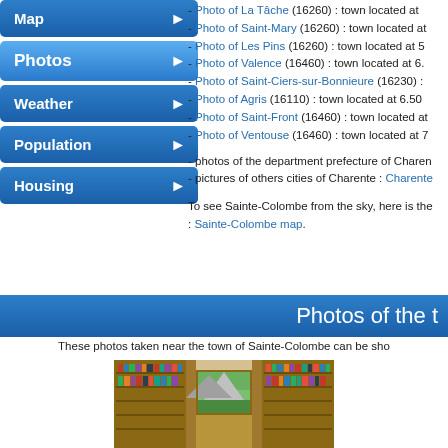- Photo of La Tâche (16260) : town located at
- Photo of Saint-Mary (16260) : town located at
- Photo of Les Pins (16260) : town located at 5
- Photo of Valence (16460) : town located at 6.
- Photo of Saint-Ciers-sur-Bonnieure (16230) :
- Photo of Agris (16110) : town located at 6.50
- Photo of Saint-Front (16460) : town located at
- Photo of Ventouse (16460) : town located at 7
- photos of the department prefecture of Charen
- pictures of others cities of Charente : Charente
To see Sainte-Colombe from the sky, here is the : Sainte-Colombe map.
Photos of the t
These photos taken near the town of Sainte-Colombe can be sho
[Figure (photo): Interior photo of a library with wooden bookshelves filled with books and a small painting in the center]